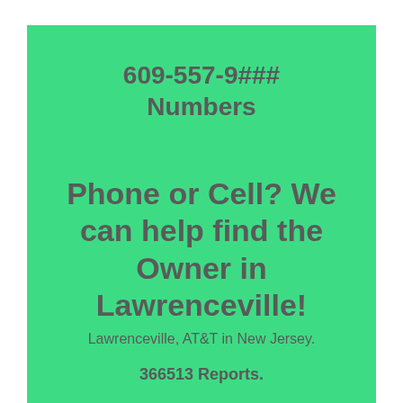609-557-9### Numbers
Phone or Cell? We can help find the Owner in Lawrenceville!
Lawrenceville, AT&T in New Jersey.
366513 Reports.